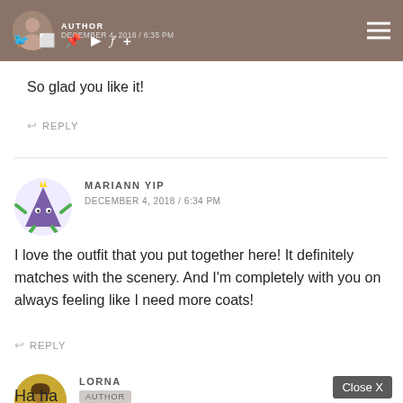AUTHOR | DECEMBER 4, 2018 / 6:35 PM — navigation bar with social icons
So glad you like it!
REPLY
MARIANN YIP
DECEMBER 4, 2018 / 6:34 PM
I love the outfit that you put together here! It definitely matches with the scenery. And I'm completely with you on always feeling like I need more coats!
REPLY
LORNA
AUTHOR
Ha ha
[Figure (screenshot): Mobile game advertisement overlay showing 'Hold and Move' with cartoon characters, Close X button visible]